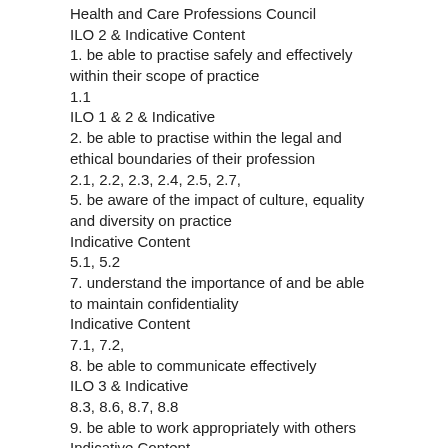Health and Care Professions Council
ILO 2 & Indicative Content
1. be able to practise safely and effectively within their scope of practice
1.1
ILO 1 & 2 & Indicative
2. be able to practise within the legal and ethical boundaries of their profession
2.1, 2.2, 2.3, 2.4, 2.5, 2.7,
5. be aware of the impact of culture, equality and diversity on practice
Indicative Content
5.1, 5.2
7. understand the importance of and be able to maintain confidentiality
Indicative Content
7.1, 7.2,
8. be able to communicate effectively
ILO 3 & Indicative
8.3, 8.6, 8.7, 8.8
9. be able to work appropriately with others
Indicative Content